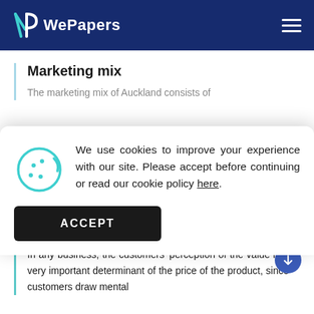WePapers
Marketing mix
The marketing mix of Auckland consists of
We use cookies to improve your experience with our site. Please accept before continuing or read our cookie policy here.
ACCEPT
Price
In any business, the customers' perception of the value is a very important determinant of the price of the product, since customers draw mental